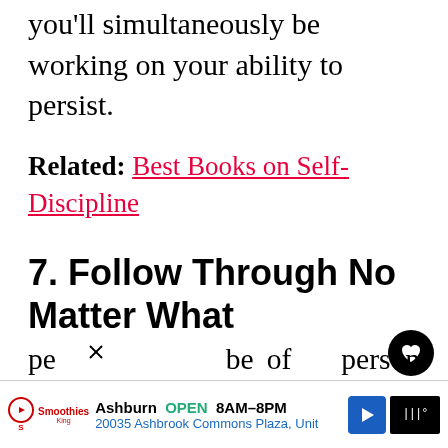you'll simultaneously be working on your ability to persist.
Related: Best Books on Self-Discipline
7. Follow Through No Matter What
The majority of people are too quick to give up at the first sign of struggle or misfortune while pursuing their aims. They start off in hot pursuit to accomplish their aims, but once a little resistance and discomfort is experienced, all bets are off. And this is why if you really wish to become a persistent pe...
[Figure (screenshot): Advertisement bar at bottom: Smoothie King store in Ashburn, OPEN 8AM-8PM, 20035 Ashbrook Commons Plaza, Unit. Navigation arrow icon and brand logo on the right.]